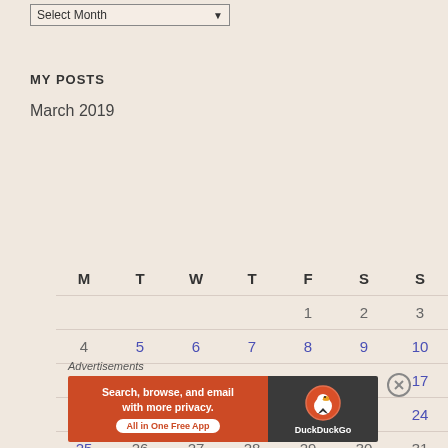Select Month (dropdown)
MY POSTS
March 2019
| M | T | W | T | F | S | S |
| --- | --- | --- | --- | --- | --- | --- |
|  |  |  |  | 1 | 2 | 3 |
| 4 | 5 | 6 | 7 | 8 | 9 | 10 |
| 11 | 12 | 13 | 14 | 15 | 16 | 17 |
| 18 | 19 | 20 | 21 | 22 | 23 | 24 |
| 25 | 26 | 27 | 28 | 29 | 30 | 31 |
Advertisements
[Figure (screenshot): DuckDuckGo advertisement banner: orange left side with text 'Search, browse, and email with more privacy. All in One Free App', dark right side with DuckDuckGo duck logo and brand name.]